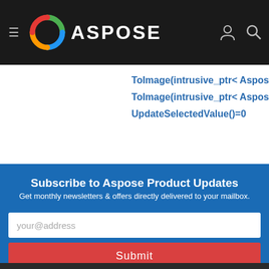ASPOSE navigation header with logo and hamburger menu
ToImage(intrusive_ptr< Aspos...
ToImage(intrusive_ptr< Aspos...
UpdateSelectedValue()=0
Subscribe to Aspose Product Updates
Get monthly newsletters & offers directly delivered to your mailbox.
your@address
Submit